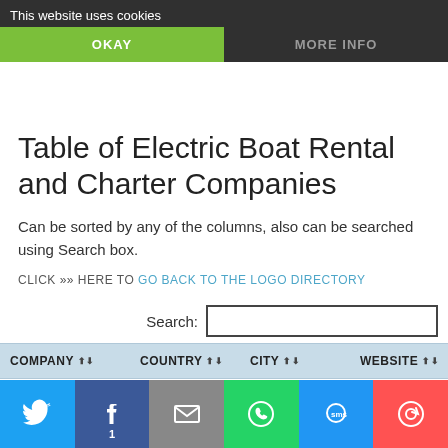This website uses cookies
OKAY
MORE INFO
Table of Electric Boat Rental and Charter Companies
Can be sorted by any of the columns, also can be searched using Search box.
CLICK »» HERE TO GO BACK TO THE LOGO DIRECTORY
| COMPANY | COUNTRY | CITY | WEBSITE |
| --- | --- | --- | --- |
| Bermuda | Bermuda | Hamilton | bermudaelectricboatrentals.com |
[Figure (infographic): Social sharing bar with Twitter, Facebook (count: 1), Email, WhatsApp, SMS, and share buttons]